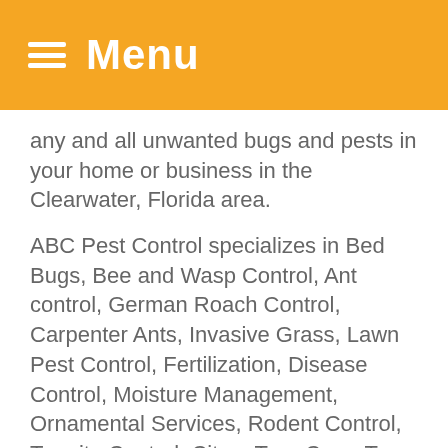Menu
any and all unwanted bugs and pests in your home or business in the Clearwater, Florida area.
ABC Pest Control specializes in Bed Bugs, Bee and Wasp Control, Ant control, German Roach Control, Carpenter Ants, Invasive Grass, Lawn Pest Control, Fertilization, Disease Control, Moisture Management, Ornamental Services, Rodent Control, Termite Control, Citrus Tree Care, Tree Injections, Weed Control, Mosquito control, and Other Services. We also specialize in Mobile home services where we are able to treat for all the services above, and the underside of your home to ensure efficiency.
Whether you want to create a safer more healthy environment for you and your family, or you are looking